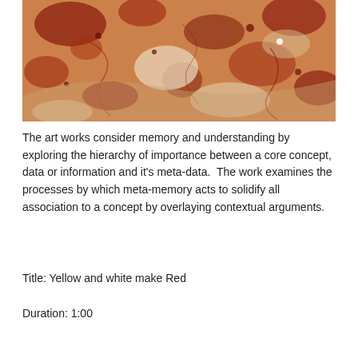[Figure (photo): Close-up photograph of an abstract texture with warm orange, red, and white tones resembling a geological or biological surface, with mottled rusty-red patches and pale cream-white areas.]
The art works consider memory and understanding by exploring the hierarchy of importance between a core concept, data or information and it's meta-data.  The work examines the processes by which meta-memory acts to solidify all association to a concept by overlaying contextual arguments.
Title: Yellow and white make Red
Duration: 1:00